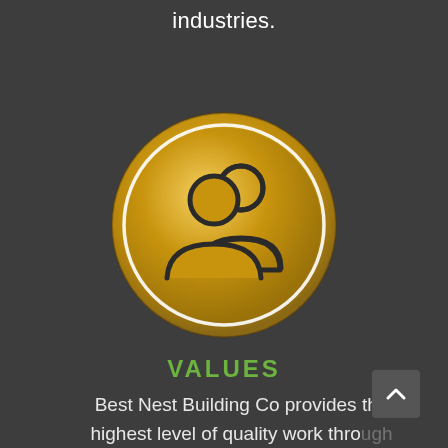industries.
[Figure (illustration): Gold circular coin/badge with a white inner ring border containing a dark outline icon of two people (group/team silhouette) on a gold gradient background. The coin has a metallic gold gradient effect.]
VALUES
Best Nest Building Co provides the highest level of quality work through professional competence and conduct